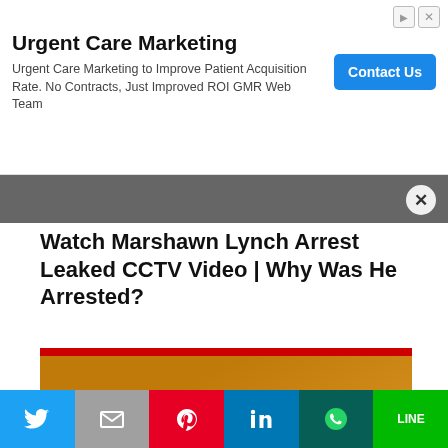[Figure (screenshot): Advertisement banner for Urgent Care Marketing with Contact Us button]
Watch Marshawn Lynch Arrest Leaked CCTV Video | Why Was He Arrested?
[Figure (screenshot): Video thumbnail with play button showing blurry golden background and two people in formal attire]
[Figure (screenshot): Social media share bar with Twitter, Mail, Pinterest, LinkedIn, WhatsApp, and LINE buttons]